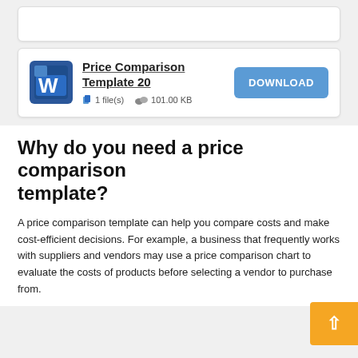[Figure (other): Partial top card stub visible at top of page]
[Figure (other): Download card showing Price Comparison Template 20 with Microsoft Word icon, file count 1 file(s), size 101.00 KB, and a blue DOWNLOAD button]
Why do you need a price comparison template?
A price comparison template can help you compare costs and make cost-efficient decisions. For example, a business that frequently works with suppliers and vendors may use a price comparison chart to evaluate the costs of products before selecting a vendor to purchase from.